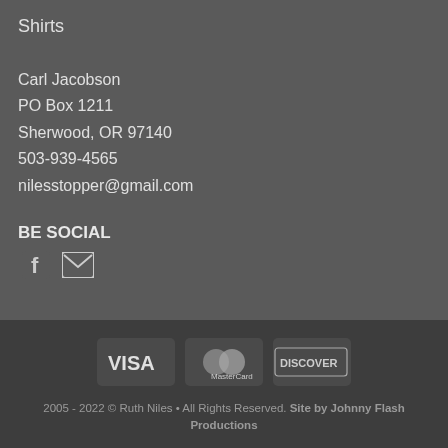Shirts
Carl Jacobson
PO Box 1211
Sherwood, OR 97140
503-939-4565
nilesstopper@gmail.com
BE SOCIAL
[Figure (illustration): Facebook and email social icons]
[Figure (illustration): Payment method badges: VISA, MasterCard, DISCOVER]
2005 - 2022 © Ruth Niles • All Rights Reserved. Site by Johnny Flash Productions